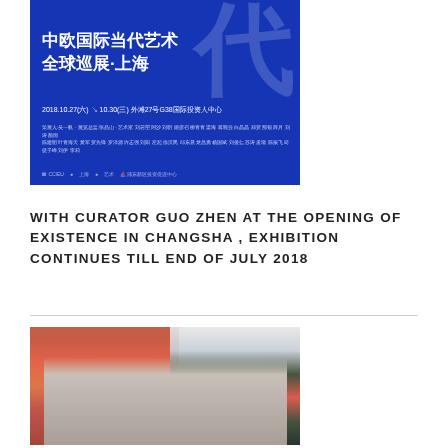[Figure (photo): Blue exhibition poster with Chinese text: 中欧国际当代艺术全球巡展·上海, dated 2018.10.27-10.30, with artist names and sponsor logos]
WITH CURATOR GUO ZHEN AT THE OPENING OF EXISTENCE IN CHANGSHA , EXHIBITION CONTINUES TILL END OF JULY 2018
[Figure (photo): Photo of two women standing in front of colorful artworks at an exhibition opening in Changsha]